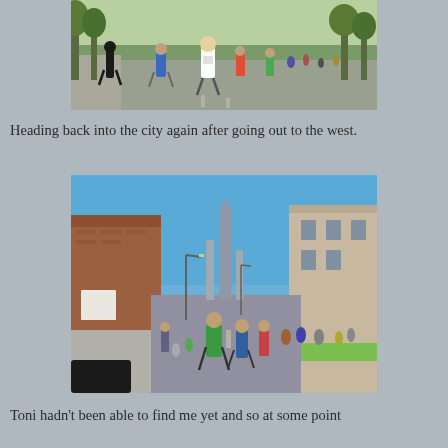[Figure (photo): Marathon runners heading back toward the city, viewed from behind, running along a tree-lined road with city skyline visible in the distance.]
Heading back into the city again after going out to the west.
[Figure (photo): Marathon runners running down an urban street toward the Chicago skyline (Willis/Sears Tower visible), with buildings on both sides including a brick building on the left and a modern building on the right.]
Toni hadn't been able to find me yet and so at some point